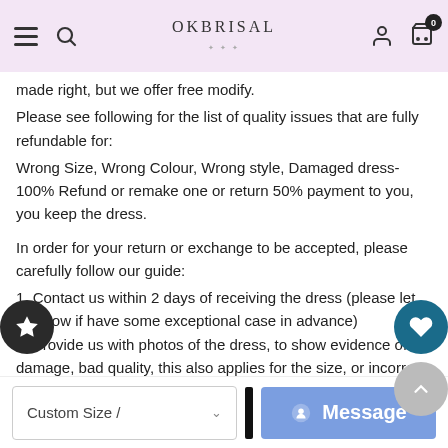OkBrisal — navigation bar with hamburger, search, brand logo, user icon, cart (0)
made right, but we offer free modify.
Please see following for the list of quality issues that are fully refundable for:
Wrong Size, Wrong Colour, Wrong style, Damaged dress- 100% Refund or remake one or return 50% payment to you, you keep the dress.
In order for your return or exchange to be accepted, please carefully follow our guide:
1. Contact us within 2 days of receiving the dress (please let us know if have some exceptional case in advance)
2. Provide us with photos of the dress, to show evidence of damage, bad quality, this also applies for the size, or incorrect style and colour etc.
3. The returned item must be in perfect condition (as new), you can try the dress on, but be sure not to stretch it or make any dirty marks, otherwise it will not be accepted.
4. The tracking number of the returned item must be provided together
Custom Size /  [dropdown]  [Message button]